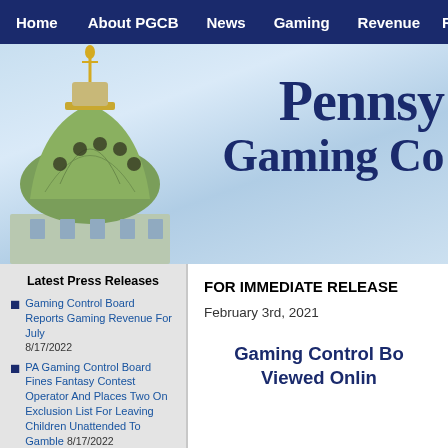Home | About PGCB | News | Gaming | Revenue | Repo...
[Figure (photo): Hero banner showing Pennsylvania State Capitol dome with gold statue on top against a blue sky with clouds, overlaid with text reading 'Pennsy Gaming Co' (Pennsylvania Gaming Control Board)]
Latest Press Releases
Gaming Control Board Reports Gaming Revenue For July 8/17/2022
PA Gaming Control Board Fines Fantasy Contest Operator And Places Two On Exclusion List For Leaving Children Unattended To Gamble 8/17/2022
Pennsylvania Gaming Control Board Reports Record Fiscal
FOR IMMEDIATE RELEASE
February 3rd, 2021
Gaming Control Bo... Viewed Onlin...